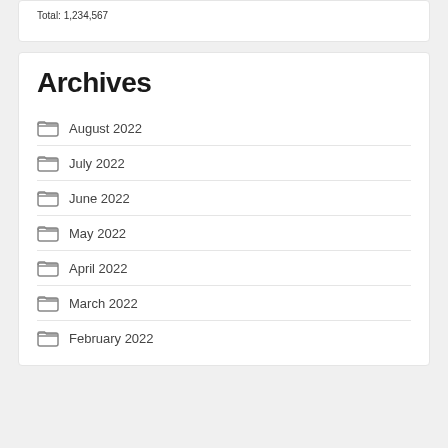Total: 1,234,567
Archives
August 2022
July 2022
June 2022
May 2022
April 2022
March 2022
February 2022